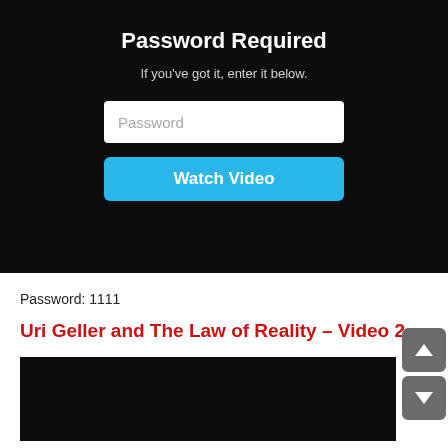Password Required
If you've got it, enter it below.
[Figure (screenshot): Password input field with placeholder text 'Password' on white background]
[Figure (screenshot): Blue 'Watch Video' button]
Password: 1111
Uri Geller and The Law of Reality – Video 2.
[Figure (screenshot): Black video thumbnail/player area]